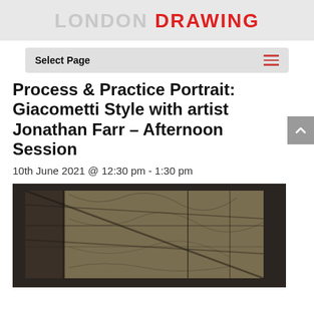LONDON DRAWING
Select Page
Process & Practice Portrait: Giacometti Style with artist Jonathan Farr – Afternoon Session
10th June 2021 @ 12:30 pm - 1:30 pm
[Figure (photo): A dark charcoal/oil artwork showing gestural marks and frames, Giacometti-style portrait study]